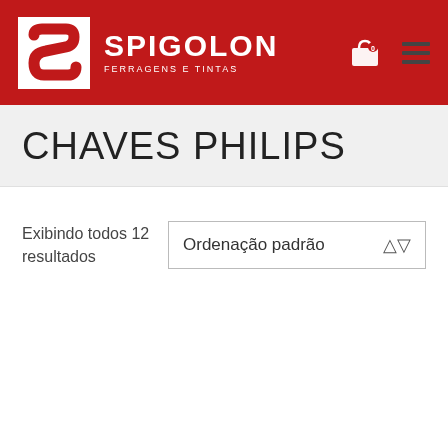[Figure (logo): Spigolon Ferragens e Tintas logo with white S letter on red background, brand name SPIGOLON and subtitle FERRAGENS E TINTAS in white text on red header bar, with shopping cart icon and hamburger menu]
CHAVES PHILIPS
Exibindo todos 12 resultados
Ordenação padrão